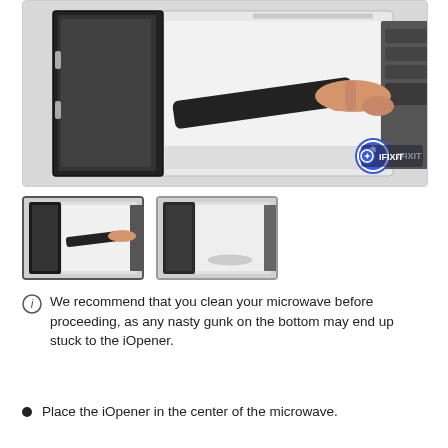[Figure (photo): A hand placing or removing a black iOpener tool inside an open microwave. The microwave door is open showing the interior. iFixit logo visible in bottom right of photo.]
[Figure (photo): Thumbnail 1: Small view of microwave with open door and hand placing iOpener inside.]
[Figure (photo): Thumbnail 2: Small view of microwave with open door, no hand visible, microwave interior shown.]
We recommend that you clean your microwave before proceeding, as any nasty gunk on the bottom may end up stuck to the iOpener.
Place the iOpener in the center of the microwave.